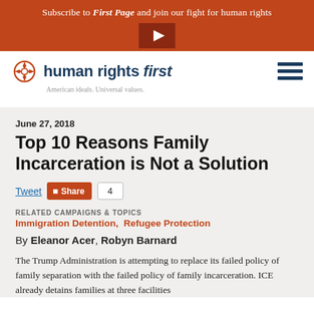Subscribe to First Page and join our fight for human rights
[Figure (logo): Human Rights First logo with compass-style circular icon and text 'human rights first' with tagline 'American ideals. Universal values.']
June 27, 2018
Top 10 Reasons Family Incarceration is Not a Solution
Tweet  Share  4
RELATED CAMPAIGNS & TOPICS
Immigration Detention,  Refugee Protection
By Eleanor Acer, Robyn Barnard
The Trump Administration is attempting to replace its failed policy of family separation with the failed policy of family incarceration. ICE already detains families at three facilities